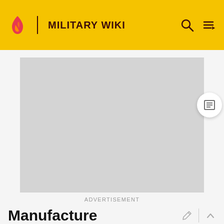MILITARY WIKI
[Figure (other): Advertisement placeholder (grey rectangle)]
ADVERTISEMENT
Manufacture
The monument was manufactured by stoneCIRCLE, a